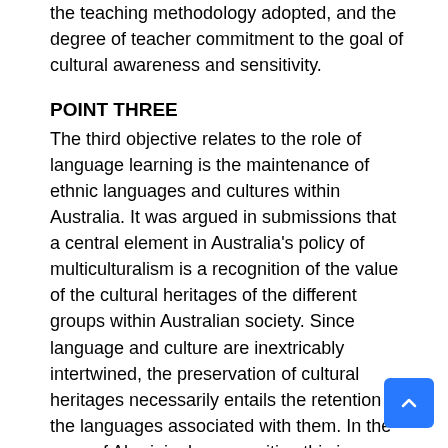the teaching methodology adopted, and the degree of teacher commitment to the goal of cultural awareness and sensitivity.
POINT THREE
The third objective relates to the role of language learning is the maintenance of ethnic languages and cultures within Australia. It was argued in submissions that a central element in Australia's policy of multiculturalism is a recognition of the value of the cultural heritages of the different groups within Australian society. Since language and culture are inextricably intertwined, the preservation of cultural heritages necessarily entails the retention of the languages associated with them. In the case of Aboriginal communities this issue takes on a special note of urgency since, in many instances, Aboriginal cultures and languages are on the verge of disappearing completely. The objective in this context, therefore, is not simply to assist in the